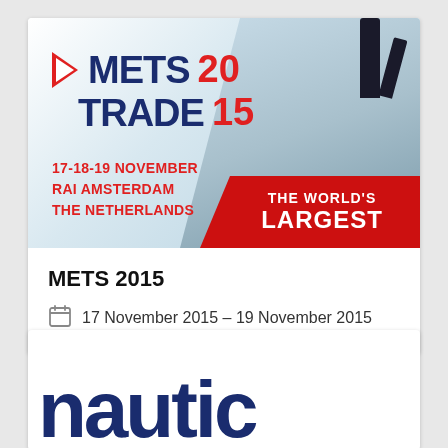[Figure (illustration): METS TRADE 2015 promotional banner with logo, dates (17-18-19 November, RAI Amsterdam, The Netherlands), and 'THE WORLD'S LARGEST' red banner overlay. Background shows aerial view of trade show floor with people.]
METS 2015
17 November 2015 – 19 November 2015
[Figure (logo): Partial text of a nautical/marine company or event name, showing large dark blue letters cut off at bottom of page.]